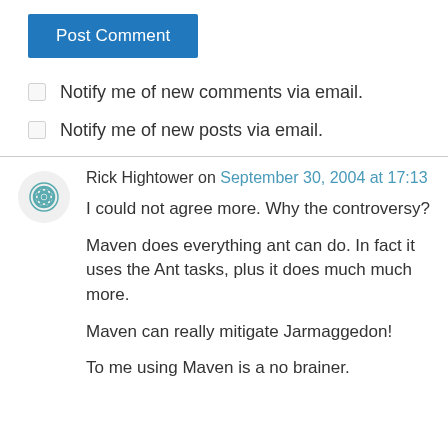Post Comment
Notify me of new comments via email.
Notify me of new posts via email.
Rick Hightower on September 30, 2004 at 17:13
I could not agree more. Why the controversy?
Maven does everything ant can do. In fact it uses the Ant tasks, plus it does much much more.
Maven can really mitigate Jarmaggedon!
To me using Maven is a no brainer.